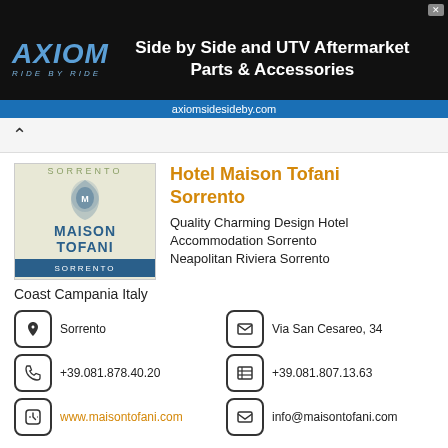[Figure (screenshot): Axiom advertisement banner: Side by Side and UTV Aftermarket Parts & Accessories, axiomsidesideby.com]
Hotel Maison Tofani Sorrento
Quality Charming Design Hotel Accommodation Sorrento Neapolitan Riviera Sorrento Coast Campania Italy
Sorrento | Via San Cesareo, 34 | +39.081.878.40.20 | +39.081.807.13.63 | www.maisontofani.com | info@maisontofani.com
Sorrento: romantic and charming coastal town, where it is still possible to breathe an old world charm, protagonist of many famous songs and setting of several movies. In this wonderful atmosphere, in the very heart of the historical center of Sorrento